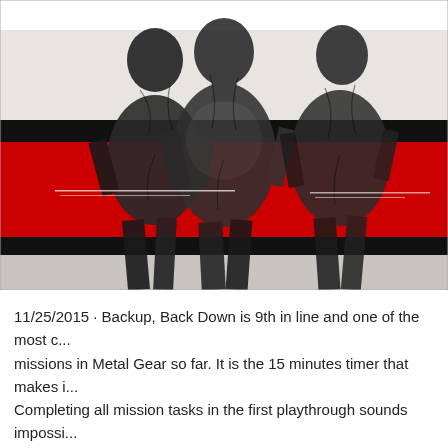[Figure (illustration): Cropped illustration from Metal Gear Solid V: The Phantom Pain game art. Shows armored figures in black and grey ink-style artwork with a bold red and black horizontal stripe band across the middle. The background transitions from white at top to light grey at the bottom. The figures appear to be soldiers or mechs rendered in an expressive, sketchy ink style.]
11/25/2015 · Backup, Back Down is 9th in line and one of the most c... missions in Metal Gear so far. It is the 15 minutes timer that makes i... Completing all mission tasks in the first playthrough sounds impossi... you'll need the upgraded Fulton 9/13/2015 · This walkthrough aims t...